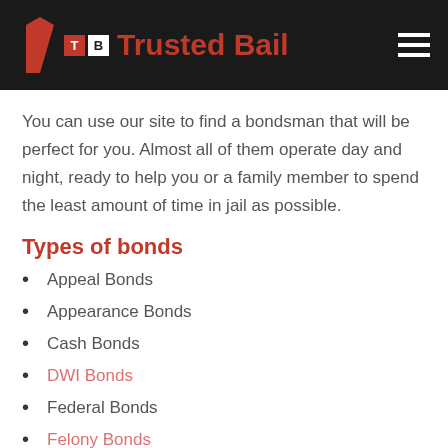Trusted Bail
You can use our site to find a bondsman that will be perfect for you. Almost all of them operate day and night, ready to help you or a family member to spend the least amount of time in jail as possible.
Types of bonds
Appeal Bonds
Appearance Bonds
Cash Bonds
DWI Bonds
Federal Bonds
Felony Bonds